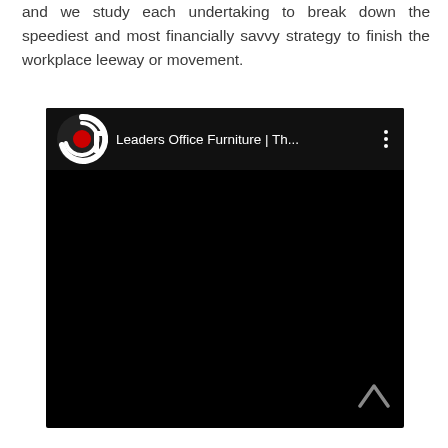and we study each undertaking to break down the speediest and most financially savvy strategy to finish the workplace leeway or movement.
[Figure (screenshot): A YouTube-style video embed showing a black video player with a channel header bar. The header displays a logo (circular icon with a red dot and 'G' letter design) and the channel name 'Leaders Office Furniture | Th...' with a three-dot menu icon on the right. The video content area is entirely black. A scroll arrow icon is visible in the bottom-right corner.]